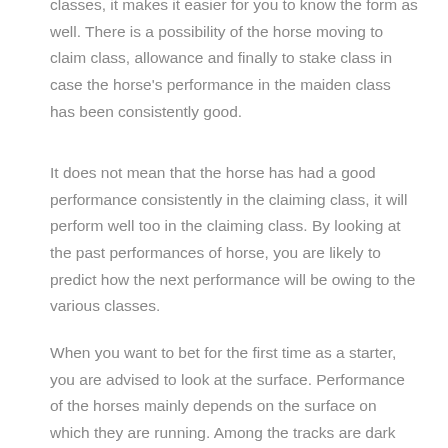classes, it makes it easier for you to know the form as well. There is a possibility of the horse moving to claim class, allowance and finally to stake class in case the horse's performance in the maiden class has been consistently good.
It does not mean that the horse has had a good performance consistently in the claiming class, it will perform well too in the claiming class. By looking at the past performances of horse, you are likely to predict how the next performance will be owing to the various classes.
When you want to bet for the first time as a starter, you are advised to look at the surface. Performance of the horses mainly depends on the surface on which they are running. Among the tracks are dark tracks, all, weather